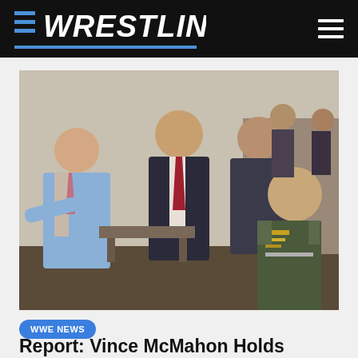WRESTLING
[Figure (photo): Several men in a backstage room: a man in a light blue suit gesturing with open hands (left), a tall man in a dark suit with red tie (center), a man in a dark jacket (right center), and a US Army officer in uniform with medals (front right). Others visible in background.]
WWE NEWS
Report: Vince McMahon Holds Meeting With